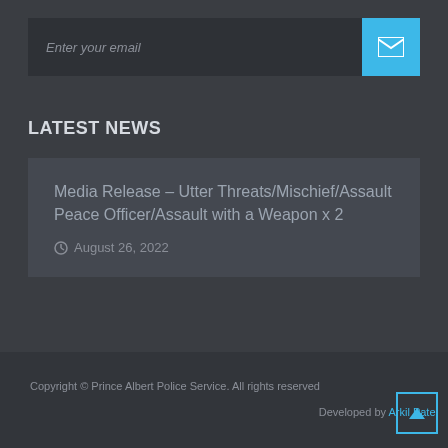Enter your email
LATEST NEWS
Media Release – Utter Threats/Mischief/Assault Peace Officer/Assault with a Weapon x 2
August 26, 2022
Copyright © Prince Albert Police Service. All rights reserved
Developed by Arkil Patel